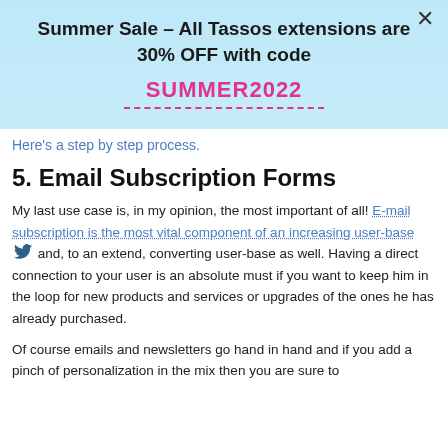[Figure (infographic): Promotional banner with light blue gradient background, close (×) button, bold black title 'Summer Sale – All Tassos extensions are 30% OFF with code', pink bold code 'SUMMER2022' with dashed pink underline]
Here's a step by step process.
5. Email Subscription Forms
My last use case is, in my opinion, the most important of all! E-mail subscription is the most vital component of an increasing user-base [twitter bird icon] and, to an extend, converting user-base as well. Having a direct connection to your user is an absolute must if you want to keep him in the loop for new products and services or upgrades of the ones he has already purchased.
Of course emails and newsletters go hand in hand and if you add a pinch of personalization in the mix then you are sure to